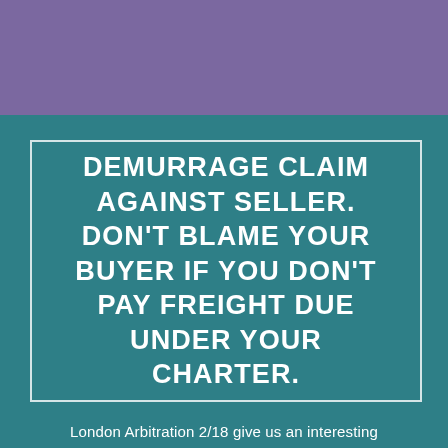DEMURRAGE CLAIM AGAINST SELLER. DON'T BLAME YOUR BUYER IF YOU DON'T PAY FREIGHT DUE UNDER YOUR CHARTER.
London Arbitration 2/18 give us an interesting